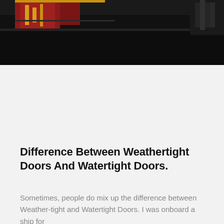[Figure (photo): Photograph of a large cargo or industrial ship, showing the dark hull and red deck structures with yellow equipment, taken from close range at port.]
Difference Between Weathertight Doors And Watertight Doors.
Sometimes, people do mix up the difference between Weather-tight and Watertight Doors. I was onboard a ship for